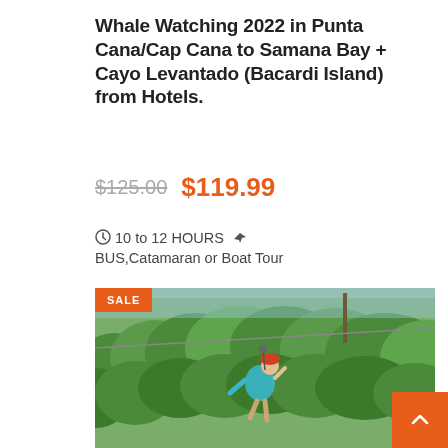Whale Watching 2022 in Punta Cana/Cap Cana to Samana Bay + Cayo Levantado (Bacardi Island) from Hotels.
$125.00  $119.99
10 to 12 HOURS  BUS,Catamaran or Boat Tour
[Figure (photo): Person zip-lining above dense green jungle canopy with a SALE badge overlay in the top-left corner and an orange scroll-to-top button in the bottom-right.]